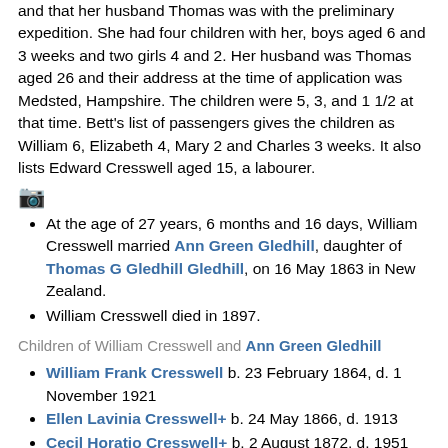and that her husband Thomas was with the preliminary expedition. She had four children with her, boys aged 6 and 3 weeks and two girls 4 and 2. Her husband was Thomas aged 26 and their address at the time of application was Medsted, Hampshire. The children were 5, 3, and 1 1/2 at that time. Bett's list of passengers gives the children as William 6, Elizabeth 4, Mary 2 and Charles 3 weeks. It also lists Edward Cresswell aged 15, a labourer.
[Figure (other): Camera icon]
At the age of 27 years, 6 months and 16 days, William Cresswell married Ann Green Gledhill, daughter of Thomas G Gledhill Gledhill, on 16 May 1863 in New Zealand.
William Cresswell died in 1897.
Children of William Cresswell and Ann Green Gledhill
William Frank Cresswell b. 23 February 1864, d. 1 November 1921
Ellen Lavinia Cresswell+ b. 24 May 1866, d. 1913
Cecil Horatio Cresswell+ b. 2 August 1872, d. 1951
Olive Elizabeth Oceania Cresswell b. 24 August 1874, d. 26 April 1957
Annie Amelia Madeira Cresswell+ b. 15 September